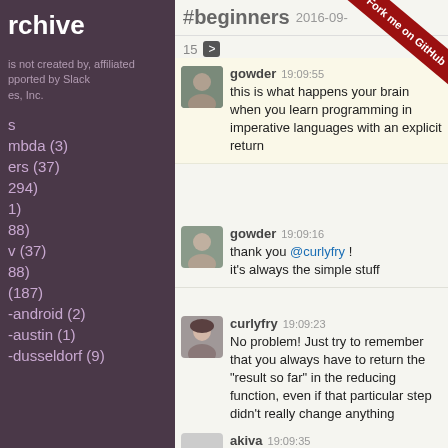rchive
is not created by, affiliated
ported by Slack
es, Inc.
s
mbda (3)
ers (37)
294)
1)
88)
v (37)
88)
(187)
-android (2)
-austin (1)
-dusseldorf (9)
#beginners 2016-09-
Fork me on GitHub
15
gowder 19:09:55
this is what happens your brain when you learn programming in imperative languages with an explicit return
gowder 19:09:16
thank you @curlyfry ! it's always the simple stuff
curlyfry 19:09:23
No problem! Just try to remember that you always have to return the "result so far" in the reducing function, even if that particular step didn't really change anything
akiva 19:09:35